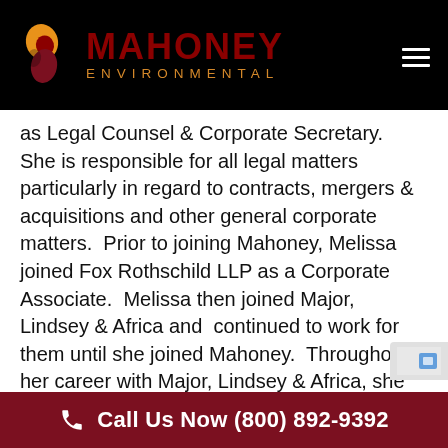[Figure (logo): Mahoney Environmental logo with orange and dark red droplet/leaf icon and company name]
as Legal Counsel & Corporate Secretary.  She is responsible for all legal matters particularly in regard to contracts, mergers & acquisitions and other general corporate matters.  Prior to joining Mahoney, Melissa joined Fox Rothschild LLP as a Corporate Associate.  Melissa then joined Major, Lindsey & Africa and  continued to work for them until she joined Mahoney.  Throughout her career with Major, Lindsey & Africa, she worked as a Corporate Associate and Corporate
Call Us Now (800) 892-9392